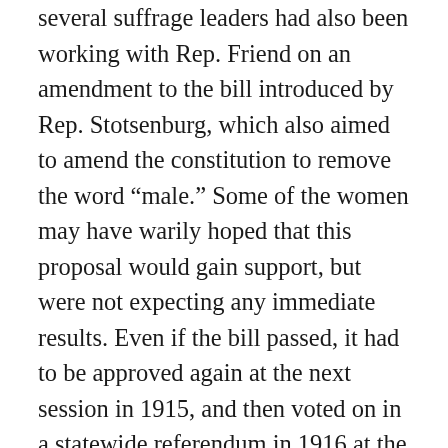several suffrage leaders had also been working with Rep. Friend on an amendment to the bill introduced by Rep. Stotsenburg, which also aimed to amend the constitution to remove the word “male.” Some of the women may have warily hoped that this proposal would gain support, but were not expecting any immediate results. Even if the bill passed, it had to be approved again at the next session in 1915, and then voted on in a statewide referendum in 1916 at the earliest. [24] Hoosier suffragists had lost this battle before, celebrating the passage of suffrage bills at one session, just to be disappointed at the next. [25] The women marching in the statehouse that day would not have had anything to celebrate, even if the bill passed, because they would have been made